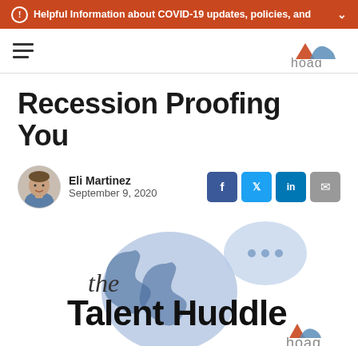Helpful Information about COVID-19 updates, policies, and
[Figure (logo): Hoag health system logo - top right navigation bar]
Recession Proofing You
Eli Martinez — September 9, 2020
[Figure (logo): the Talent Huddle podcast logo with Hoag branding, featuring phone and chat bubble graphics in blue/lavender tones]